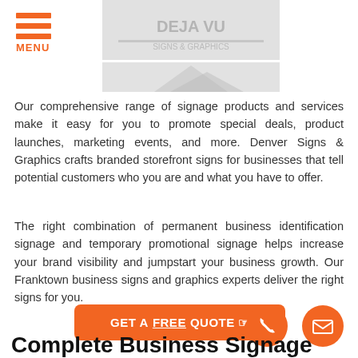MENU
[Figure (logo): Denver Signs & Graphics logo placeholder, greyed out]
Our comprehensive range of signage products and services make it easy for you to promote special deals, product launches, marketing events, and more. Denver Signs & Graphics crafts branded storefront signs for businesses that tell potential customers who you are and what you have to offer.
The right combination of permanent business identification signage and temporary promotional signage helps increase your brand visibility and jumpstart your business growth. Our Franktown business signs and graphics experts deliver the right signs for you.
GET A FREE QUOTE
Complete Business Signage